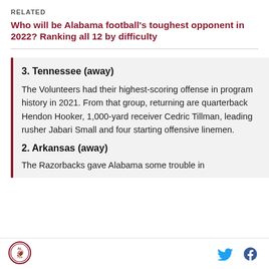RELATED
Who will be Alabama football's toughest opponent in 2022? Ranking all 12 by difficulty
3. Tennessee (away)
The Volunteers had their highest-scoring offense in program history in 2021. From that group, returning are quarterback Hendon Hooker, 1,000-yard receiver Cedric Tillman, leading rusher Jabari Small and four starting offensive linemen.
2. Arkansas (away)
The Razorbacks gave Alabama some trouble in